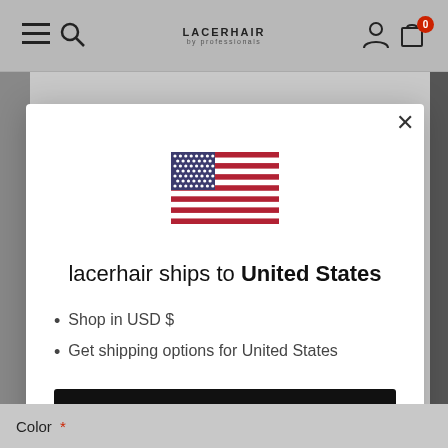LACERHAIR
[Figure (screenshot): Modal dialog showing USA flag and shipping options for United States on lacerhair.com website]
lacerhair ships to United States
Shop in USD $
Get shipping options for United States
Shop now
Change shipping country
Color *